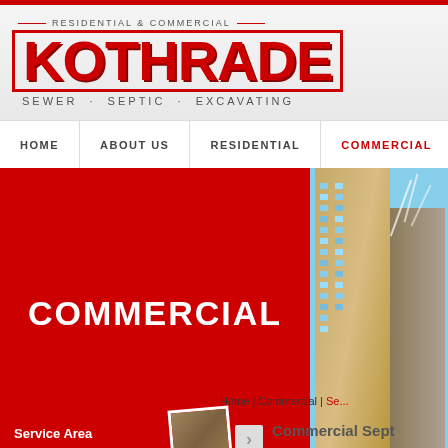RESIDENTIAL & COMMERCIAL — KOTHRADE — SEWER · SEPTIC · EXCAVATING
HOME | ABOUT US | RESIDENTIAL | COMMERCIAL
[Figure (screenshot): Red hero banner with white COMMERCIAL text on left, building photo on right]
Home | Commercial | Se...
[Figure (photo): Service Area box with map thumbnail]
Commercial Sept...